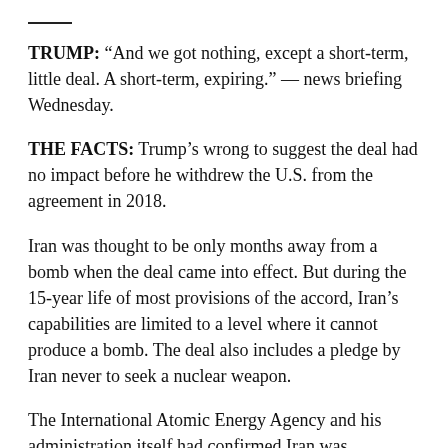—
TRUMP: “And we got nothing, except a short-term, little deal. A short-term, expiring.” — news briefing Wednesday.
THE FACTS: Trump’s wrong to suggest the deal had no impact before he withdrew the U.S. from the agreement in 2018.
Iran was thought to be only months away from a bomb when the deal came into effect. But during the 15-year life of most provisions of the accord, Iran’s capabilities are limited to a level where it cannot produce a bomb. The deal also includes a pledge by Iran never to seek a nuclear weapon.
The International Atomic Energy Agency and his administration itself had confirmed Iran was complying with the terms before Trump pulled out of the deal.
The pact does gradually lift some restrictions, including